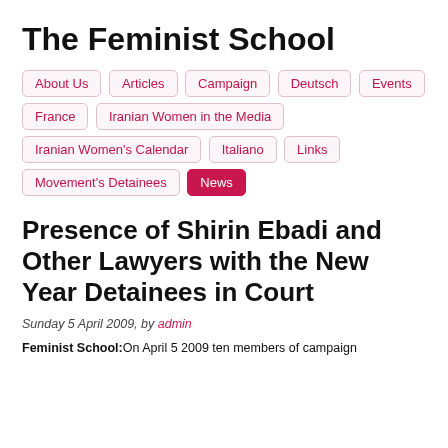The Feminist School
About Us
Articles
Campaign
Deutsch
Events
France
Iranian Women in the Media
Iranian Women's Calendar
Italiano
Links
Movement's Detainees
News
Presence of Shirin Ebadi and Other Lawyers with the New Year Detainees in Court
Sunday 5 April 2009, by admin
Feminist School: On April 5 2009 ten members of campaign